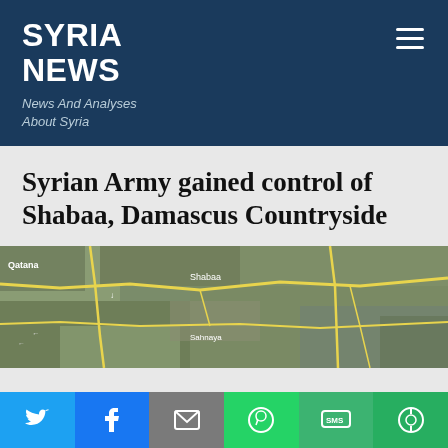SYRIA NEWS
News And Analyses About Syria
Syrian Army gained control of Shabaa, Damascus Countryside
[Figure (map): Satellite/aerial map showing the Shabaa area in Damascus Countryside, with yellow road lines overlaid on terrain imagery and place name labels.]
Twitter | Facebook | Email | WhatsApp | SMS | ShareMe social share buttons